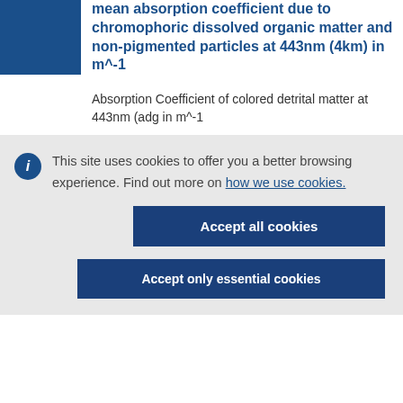mean absorption coefficient due to chromophoric dissolved organic matter and non-pigmented particles at 443nm (4km) in m^-1
Absorption Coefficient of colored detrital matter at 443nm (adg in m^-1
This site uses cookies to offer you a better browsing experience. Find out more on how we use cookies.